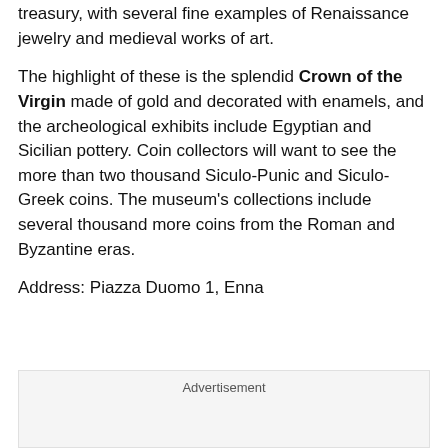treasury, with several fine examples of Renaissance jewelry and medieval works of art.
The highlight of these is the splendid Crown of the Virgin made of gold and decorated with enamels, and the archeological exhibits include Egyptian and Sicilian pottery. Coin collectors will want to see the more than two thousand Siculo-Punic and Siculo-Greek coins. The museum's collections include several thousand more coins from the Roman and Byzantine eras.
Address: Piazza Duomo 1, Enna
Advertisement